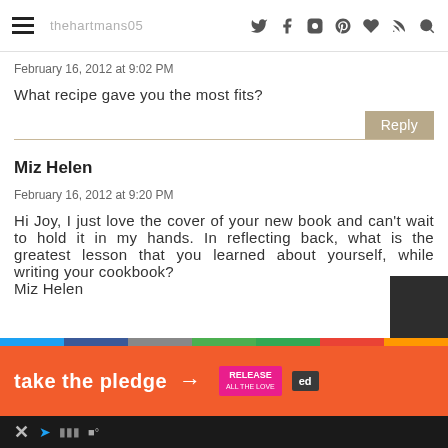thehartmans05
February 16, 2012 at 9:02 PM
What recipe gave you the most fits?
Miz Helen
February 16, 2012 at 9:20 PM
Hi Joy, I just love the cover of your new book and can't wait to hold it in my hands. In reflecting back, what is the greatest lesson that you learned about yourself, while writing your cookbook?
Miz Helen
take the pledge →